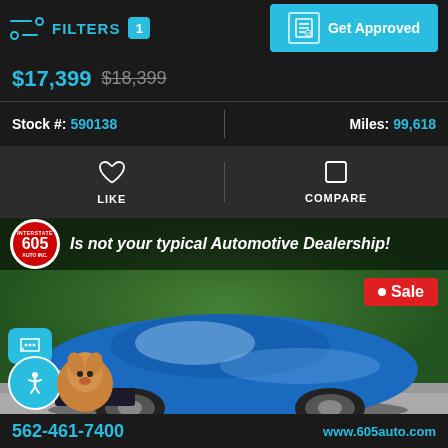FILTERS 1 | Get Approved
$17,399 $18,399
Stock #: 590138 | Miles: 99,618
LIKE | COMPARE
[Figure (photo): Blue Chevrolet Volt parked in front of a green hedge. Dealer ad for Interstate 605 Auto Inc. with tagline 'Is not your typical Automotive Dealership!' and a red Sale badge. Bottom bar shows phone 562-461-7400 and website www.605auto.com.]